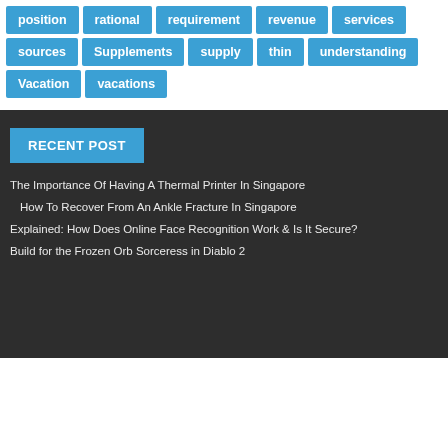position
rational
requirement
revenue
services
sources
Supplements
supply
thin
understanding
Vacation
vacations
RECENT POST
The Importance Of Having A Thermal Printer In Singapore
How To Recover From An Ankle Fracture In Singapore
Explained: How Does Online Face Recognition Work & Is It Secure?
Build for the Frozen Orb Sorceress in Diablo 2